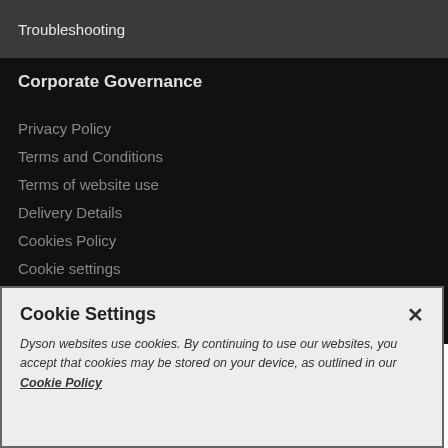Troubleshooting
Corporate Governance
Privacy Policy
Terms and Conditions
Terms of website use
Delivery Details
Cookies Policy
Cookie settings
Cookie Settings
Dyson websites use cookies. By continuing to use our websites, you accept that cookies may be stored on your device, as outlined in our Cookie Policy